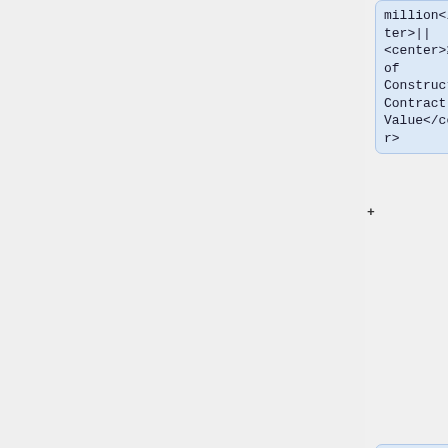million</center>|| <center>≥1% of Construction Contract Value</center>
|-
| <center>>$10 million</center>|| <center>≥$100,000
|-
|}
</div>